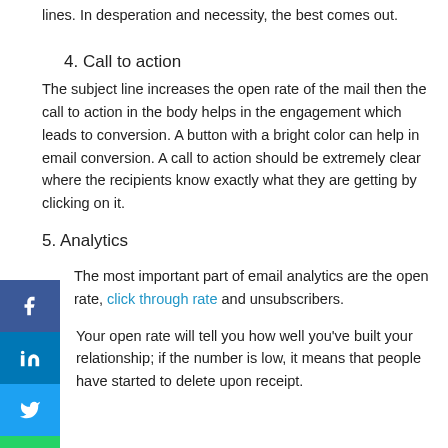lines. In desperation and necessity, the best comes out.
4. Call to action
The subject line increases the open rate of the mail then the call to action in the body helps in the engagement which leads to conversion. A button with a bright color can help in email conversion. A call to action should be extremely clear where the recipients know exactly what they are getting by clicking on it.
5. Analytics
The most important part of email analytics are the open rate, click through rate and unsubscribers.
Your open rate will tell you how well you've built your relationship; if the number is low, it means that people have started to delete upon receipt.